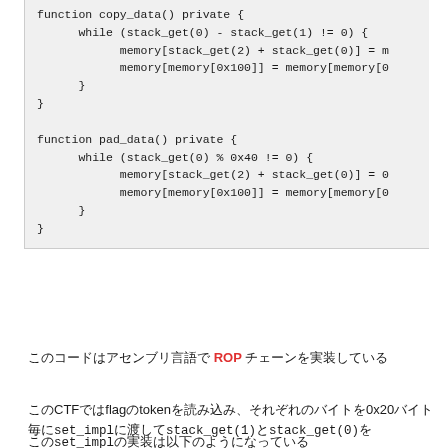[Figure (screenshot): Code block showing two functions: copy_data() private with a while loop using stack_get operations and memory assignments, and pad_data() private with a similar while loop using stack_get and memory operations with 0x40 modulus check.]
このコードはアセンブリ言語で ROP チェーンを実装している
このCTFではflagのtokenを読み込み、それぞれのバイトを0x20バイト毎にset_implに渡してstack_get(1)とstack_get(0)を
このset_implの実装は以下のようになっている